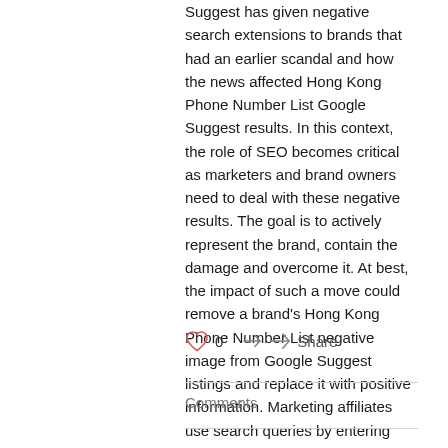Suggest has given negative search extensions to brands that had an earlier scandal and how the news affected Hong Kong Phone Number List Google Suggest results. In this context, the role of SEO becomes critical as marketers and brand owners need to deal with these negative results. The goal is to actively represent the brand, contain the damage and overcome it. At best, the impact of such a move could remove a brand's Hong Kong Phone Number List negative image from Google Suggest listings and replace it with positive information. Marketing affiliates use search queries by entering brand name keywords.
0  Share
Comments